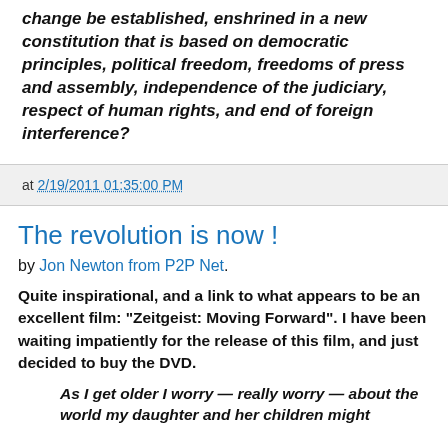change be established, enshrined in a new constitution that is based on democratic principles, political freedom, freedoms of press and assembly, independence of the judiciary, respect of human rights, and end of foreign interference?
at 2/19/2011 01:35:00 PM
The revolution is now !
by Jon Newton from P2P Net.
Quite inspirational, and a link to what appears to be an excellent film: "Zeitgeist: Moving Forward". I have been waiting impatiently for the release of this film, and just decided to buy the DVD.
As I get older I worry — really worry — about the world my daughter and her children might inherit...